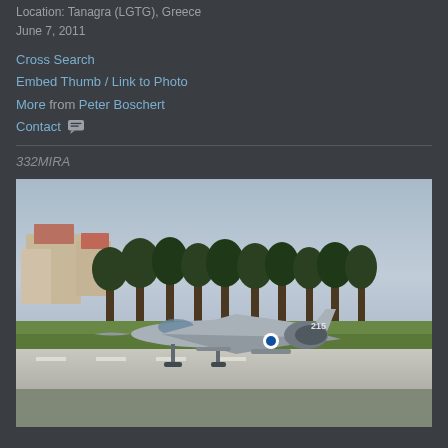Location: Tanagra (LGTG), Greece
June 7, 2011
Cross Search
Embed Thumb / Link to Photo
More from Peter Boschert
Contact
332MIRA
[Figure (photo): Greek Air Force Mirage 2000 fighter jet (numbered 215) taking off or landing on a runway at Tanagra airbase, Greece. The aircraft is light grey with Greek Air Force markings. Background shows trees, buildings, and a partly cloudy sky.]